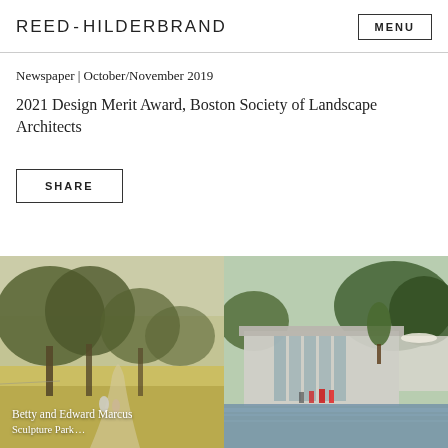REED HILDERBRAND
Newspaper | October/November 2019
2021 Design Merit Award, Boston Society of Landscape Architects
SHARE
[Figure (photo): Landscape rendering showing two people walking through a meadow with large oak trees and golden grasses, misty background. Caption: Betty and Edward Marcus Sculpture Park]
[Figure (photo): Modern pavilion building with glass walls beside a reflecting pool, people standing near the water, trees in background.]